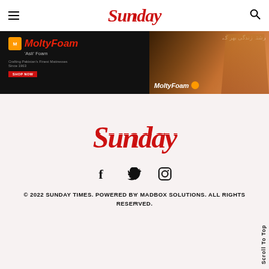Sunday
[Figure (photo): MoltyFoam advertisement banner showing 'Asli' Foam branding with a woman in traditional Pakistani bridal dress on the right side and bedroom furniture on the left. Text includes 'Crafting Pakistan's Finest Mattresses Since 1963' and 'SHOP NOW' button.]
Sunday
[Figure (infographic): Social media icons: Facebook, Twitter, Instagram]
© 2022 SUNDAY TIMES. POWERED BY MADBOX SOLUTIONS. ALL RIGHTS RESERVED.